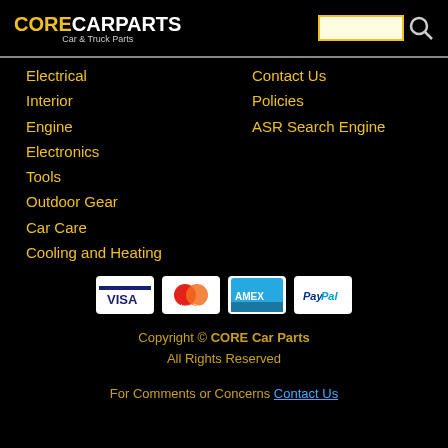CORECARPARTS Car & Truck Parts
Electrical
Interior
Engine
Electronics
Tools
Outdoor Gear
Car Care
Cooling and Heating
Contact Us
Policies
ASR Search Engine
[Figure (logo): Payment method icons: Visa, MasterCard, American Express, PayPal]
Copyright © CORE Car Parts
All Rights Reserved
For Comments or Concerns Contact Us